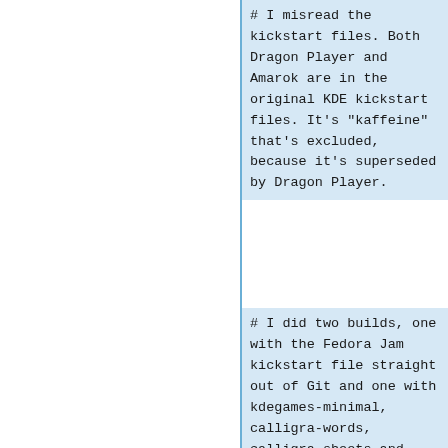# I misread the kickstart files. Both Dragon Player and Amarok are in the original KDE kickstart files. It's "kaffeine" that's excluded, because it's superseded by Dragon Player.
# I did two builds, one with the Fedora Jam kickstart file straight out of Git and one with kdegames-minimal, calligra-words, calligra-sheets and calligra-stage excluded via "-" signs. The results was...